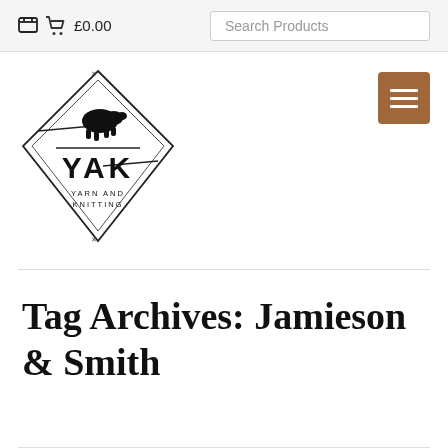🛒 £0.00    Search Products
[Figure (logo): YAK Yarn and Knitting logo — diamond shape with knitting needles and a black yak silhouette, text YAK large, YARN AND KNITTING below]
Tag Archives: Jamieson & Smith